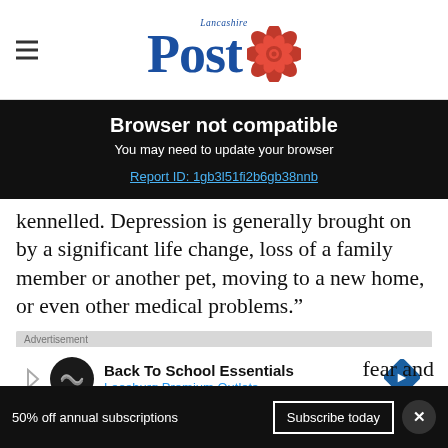Lancashire Post
Browser not compatible
You may need to update your browser
Report ID: 1gb3l51fi2b6gb38nnb
kennelled. Depression is generally brought on by a significant life change, loss of a family member or another pet, moving to a new home, or even other medical problems."
[Figure (screenshot): Advertisement banner: Back To School Essentials, Leesburg Premium Outlets]
fear and
50% off annual subscriptions   Subscribe today